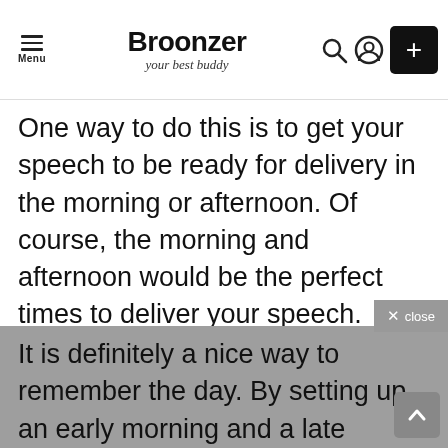Menu | Broonzer your best buddy
One way to do this is to get your speech to be ready for delivery in the morning or afternoon. Of course, the morning and afternoon would be the perfect times to deliver your speech.
It is definitely a nice way to remember the day. By setting up an early morning and a late afternoon you will be able to reach out to more people. The best part about these is that you do not have to worry about your speech being too long, you can have it just enough to say. You can add in some surprises in the speech.